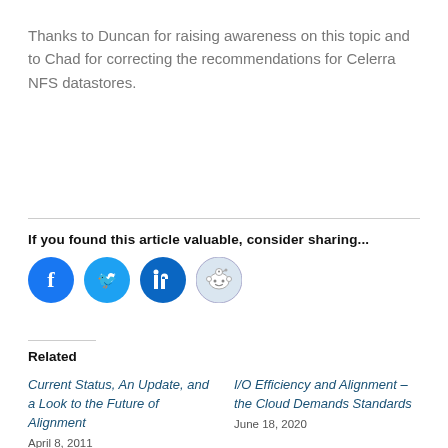Thanks to Duncan for raising awareness on this topic and to Chad for correcting the recommendations for Celerra NFS datastores.
If you found this article valuable, consider sharing...
[Figure (infographic): Social sharing icons: Facebook (blue circle), Twitter (blue circle), LinkedIn (dark teal circle), Reddit (light blue circle)]
Related
Current Status, An Update, and a Look to the Future of Alignment
I/O Efficiency and Alignment – the Cloud Demands Standards